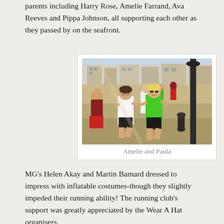parents including Harry Rose, Amelie Farrand, Ava Reeves and Pippa Johnson, all supporting each other as they passed by on the seafront.
[Figure (photo): Two women running on a seafront promenade. One wears a white t-shirt and glasses, the other wears a bright green sleeveless top and sunglasses. Other runners and spectators are visible in the background. A lamp post is prominent on the right.]
Amelie and Paula
MG's Helen Akay and Martin Barnard dressed to impress with inflatable costumes-though they slightly impeded their running ability! The running club's support was greatly appreciated by the Wear A Hat organisers.